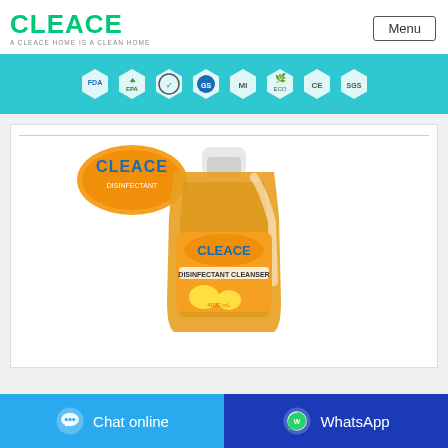CLEACE — A CLEACE HOME IS A CLEAN HOME | Menu
[Figure (infographic): Teal banner showing 8 certification badges: FDA, EPA, and 6 other quality/safety certification logos in hexagonal/circular icons]
[Figure (photo): Cleace Disinfectant Cleanser bottle (amber/yellow liquid) with orange label, 4000ml, orange and lemon scent, with Cleace logo badge in upper left]
Chat online
WhatsApp